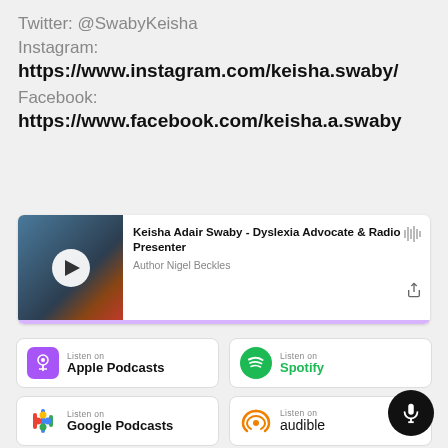Twitter: @SwabyKeisha
Instagram:
https://www.instagram.com/keisha.swaby/
Facebook:
https://www.facebook.com/keisha.a.swaby
[Figure (screenshot): Podcast player card showing episode 'Keisha Adair Swaby - Dyslexia Advocate & Radio Presenter' by Author Nigel Beckles, with play button thumbnail and purple progress bar]
[Figure (screenshot): Four podcast platform badges: Apple Podcasts, Spotify, Google Podcasts, Audible. Each badge shows platform icon and 'Listen on' text with platform name.]